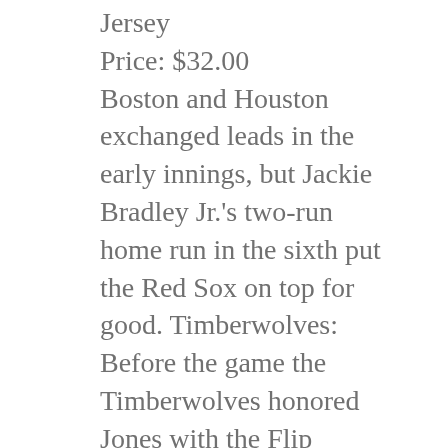Jersey
Price: $32.00
Boston and Houston exchanged leads in the early innings, but Jackie Bradley Jr.'s two-run home run in the sixth put the Red Sox on top for good. Timberwolves: Before the game the Timberwolves honored Jones with the Flip Saunders Legacy Award for his contributions to the community. They also improved to 2 against Kansas in the finals. Basketball Jerseys Custom Instead of tears, there